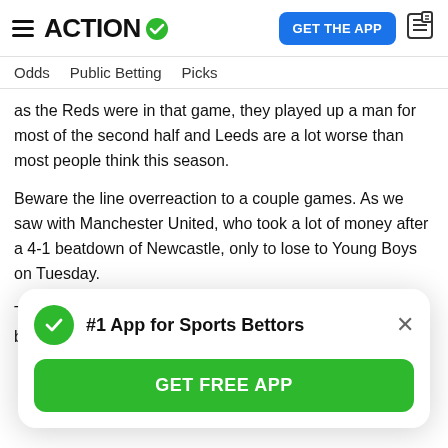ACTION (logo with checkmark) | GET THE APP | news icon
Odds   Public Betting   Picks
as the Reds were in that game, they played up a man for most of the second half and Leeds are a lot worse than most people think this season.
Beware the line overreaction to a couple games. As we saw with Manchester United, who took a lot of money after a 4-1 beatdown of Newcastle, only to lose to Young Boys on Tuesday.
This line shifted enough in the last few days for me to get behind Milan +1.5, which I project to be -170. Anything
#1 App for Sports Bettors
GET FREE APP